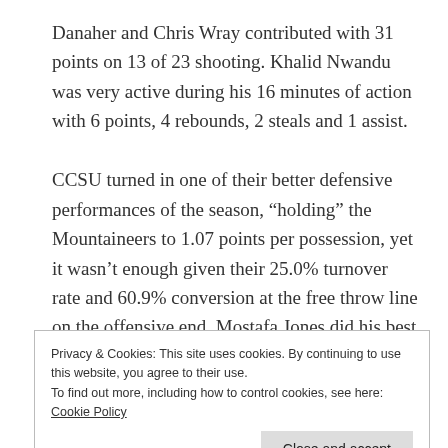Danaher and Chris Wray contributed with 31 points on 13 of 23 shooting. Khalid Nwandu was very active during his 16 minutes of action with 6 points, 4 rebounds, 2 steals and 1 assist.

CCSU turned in one of their better defensive performances of the season, “holding” the Mountaineers to 1.07 points per possession, yet it wasn’t enough given their 25.0% turnover rate and 60.9% conversion at the free throw line on the offensive end. Mostafa Jones did his best to keep the Blue Devils in it, posting 18 points
Privacy & Cookies: This site uses cookies. By continuing to use this website, you agree to their use.
To find out more, including how to control cookies, see here: Cookie Policy